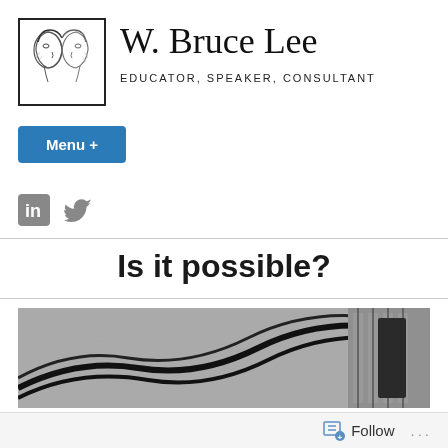[Figure (logo): Sketch illustration of two profile faces (one male, one female) facing each other, inside a rectangular border]
W. Bruce Lee
EDUCATOR, SPEAKER, CONSULTANT
Menu +
[Figure (other): LinkedIn and Twitter (bird) social media icons in gray]
Is it possible?
[Figure (photo): Black and white photograph showing architectural elements — curved metal railings and a building facade]
Follow
...